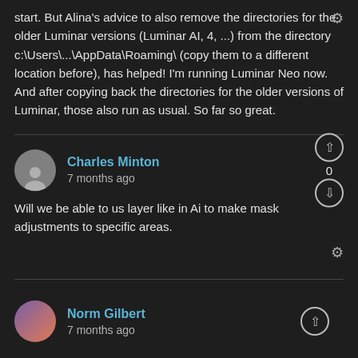start. But Alina's advice to also remove the directories for the older Luminar versions (Luminar AI, 4, ...) from the directory c:\Users\...\AppData\Roaming\ (copy them to a different location before), has helped! I'm running Luminar Neo now. And after copying back the directories for the older versions of Luminar, those also run as usual. So far so great.
Charles Minton
7 months ago
Will we be able to us layer like in Ai to make mask adjustments to specific areas.
Norm Gilbert
7 months ago